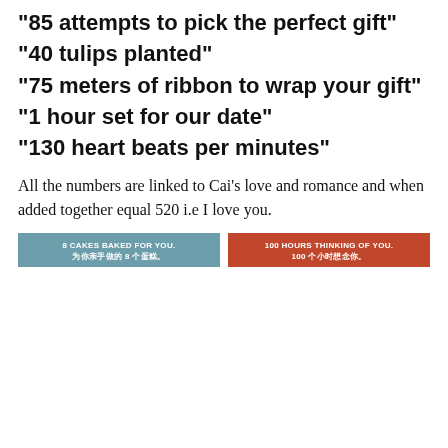“85 attempts to pick the perfect gift”
“40 tulips planted”
“75 meters of ribbon to wrap your gift”
“1 hour set for our date”
“130 heart beats per minutes”
All the numbers are linked to Cai’s love and romance and when added together equal 520 i.e I love you.
[Figure (photo): Left card with blue-grey header reading '8 CAKES BAKED FOR YOU. 为你亲手做的8个蚌蕨。' above a photo of hands working with objects]
[Figure (photo): Right card with red-orange header reading '100 HOURS THINKING OF YOU. 100个小时想念你。' above a blurred rainy window photo]